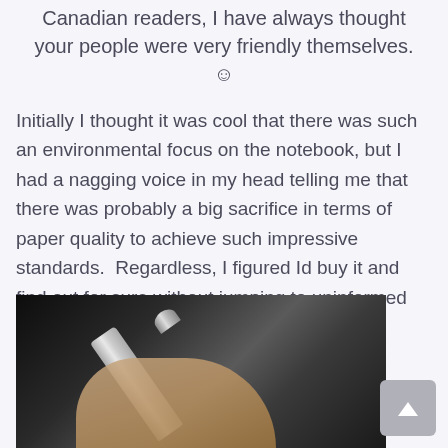Canadian readers, I have always thought your people were very friendly themselves. ☺
Initially I thought it was cool that there was such an environmental focus on the notebook, but I had a nagging voice in my head telling me that there was probably a big sacrifice in terms of paper quality to achieve such impressive standards.  Regardless, I figured Id buy it and find out for sure without jumping to uninformed conclusions.
[Figure (photo): A hand holding a silver/metallic pen or pencil, photographed against a dark background.]